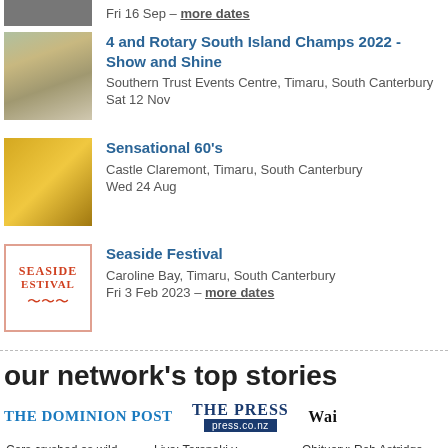Fri 16 Sep – more dates
[Figure (photo): Event listing photo for 4 and Rotary South Island Champs 2022]
4 and Rotary South Island Champs 2022 - Show and Shine
Southern Trust Events Centre, Timaru, South Canterbury
Sat 12 Nov
[Figure (photo): Gold record / music event image for Sensational 60's]
Sensational 60's
Castle Claremont, Timaru, South Canterbury
Wed 24 Aug
[Figure (logo): Seaside Festival logo in red text]
Seaside Festival
Caroline Bay, Timaru, South Canterbury
Fri 3 Feb 2023 – more dates
our network's top stories
[Figure (logo): The Dominion Post logo]
[Figure (logo): The Press press.co.nz logo]
[Figure (logo): Wai... (partial) logo]
Cars crushed as wild weather causes slips, road closures in Wellington
Wellington police appeal for help
Live: Taranaki v Canterbury - NPC
Bush hideaway on West Coast references a historic goldmining hut
Obituary: Rob Astridge QSM...
Explained: Sta... woes an earl...